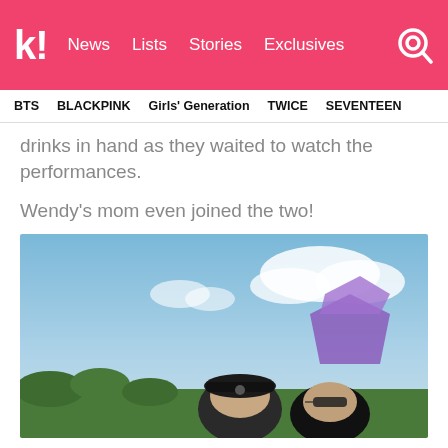k! News  Lists  Stories  Exclusives
BTS   BLACKPINK   Girls' Generation   TWICE   SEVENTEEN
drinks in hand as they waited to watch the performances.
Wendy's mom even joined the two!
[Figure (photo): Two people posing outdoors at what appears to be a music festival, with a blue sky and clouds in the background and a purple stage structure visible. One person wears a black baseball cap.]